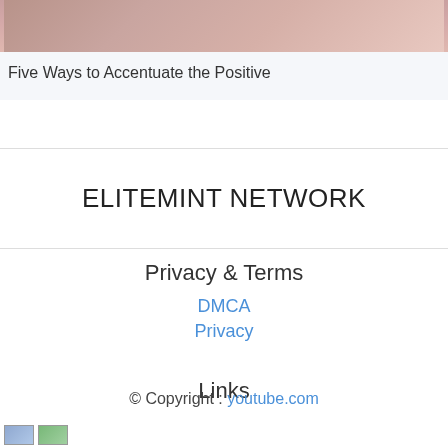[Figure (photo): Partial photo of a person, cropped at the top of the page, showing warm/pink tones]
Five Ways to Accentuate the Positive
ELITEMINT NETWORK
Privacy & Terms
DMCA
Privacy
Links
© Copyright : youtube.com